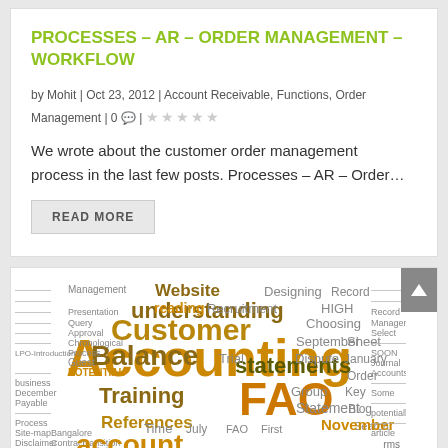PROCESSES – AR – ORDER MANAGEMENT – WORKFLOW
by Mohit | Oct 23, 2012 | Account Receivable, Functions, Order Management | 0 | ★★★★★
We wrote about the customer order management process in the last few posts. Processes – AR – Order…
READ MORE
[Figure (infographic): Word cloud related to accounting topics including words: understanding, Customer, Balance, Accounting, FAO, statements, Training, References, Management, Website, POTENTIAL, reading, Guest, Designing, Record, Recruitment, HIGH, Choosing, September, Dispute, Group, November, Statement, Key, Order, Sheet, January, Blog, and many more in various sizes and colors (olive, dark gold, brown, gray).]